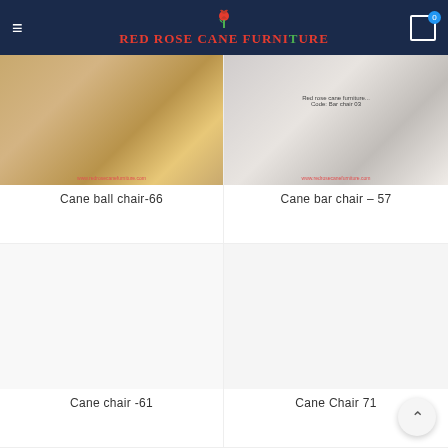Red Rose Cane Furniture
[Figure (photo): Cane ball chair product photo showing woven rattan ball-shaped chairs in golden/tan color]
Cane ball chair-66
[Figure (photo): Cane bar chair product photo in greyscale showing bar height chair with text 'Red rose cane furniture... Code: Bar chair 03' and watermark www.redrosecanefurniture.com]
Cane bar chair – 57
[Figure (photo): Cane chair product photo (white/empty placeholder)]
Cane chair -61
[Figure (photo): Cane Chair 71 product photo (white/empty placeholder)]
Cane Chair 71